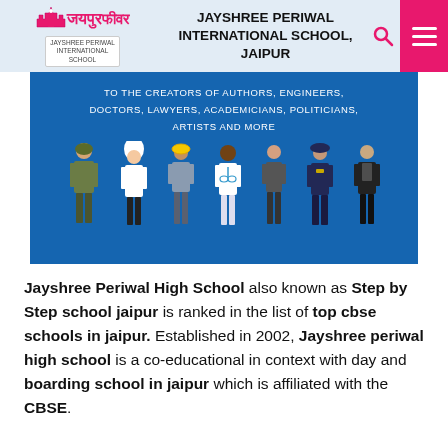JAYSHREE PERIWAL INTERNATIONAL SCHOOL, JAIPUR
[Figure (illustration): Banner image for Jayshree Periwal International School showing illustrated profession characters (soldier, chef, engineer, doctor, businesswoman, police officer, judge) on a blue background with text: TO THE CREATORS OF AUTHORS, ENGINEERS, DOCTORS, LAWYERS, ACADEMICIANS, POLITICIANS, ARTISTS AND MORE]
Jayshree Periwal High School also known as Step by Step school jaipur is ranked in the list of top cbse schools in jaipur. Established in 2002, Jayshree periwal high school is a co-educational in context with day and boarding school in jaipur which is affiliated with the CBSE.